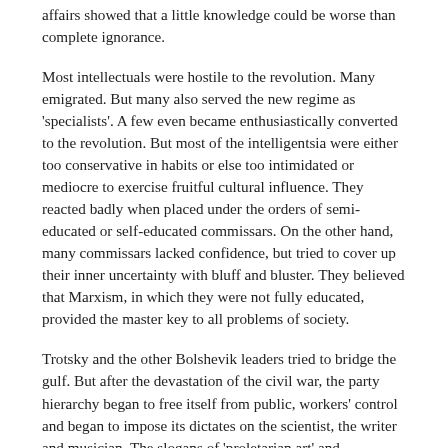affairs showed that a little knowledge could be worse than complete ignorance.
Most intellectuals were hostile to the revolution. Many emigrated. But many also served the new regime as 'specialists'. A few even became enthusiastically converted to the revolution. But most of the intelligentsia were either too conservative in habits or else too intimidated or mediocre to exercise fruitful cultural influence. They reacted badly when placed under the orders of semi-educated or self-educated commissars. On the other hand, many commissars lacked confidence, but tried to cover up their inner uncertainty with bluff and bluster. They believed that Marxism, in which they were not fully educated, provided the master key to all problems of society.
Trotsky and the other Bolshevik leaders tried to bridge the gulf. But after the devastation of the civil war, the party hierarchy began to free itself from public, workers' control and began to impose its dictates on the scientist, the writer and musician. The slogans of 'proletarian art' and 'proletarian culture' were coined and became